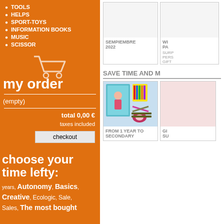TOOLS
HELPS
SPORT-TOYS
INFORMATION BOOKS
MUSIC
SCISSOR
my order
(empty)
total 0,00 €
taxes included
checkout
choose your time lefty:
years, Autonomy, Basics, Creative, Ecologic, Sale, Sales, The most bought
SEMPIEMBRE 2022
SURPRISE PERSONALIZED GIFT
SAVE TIME AND M
[Figure (photo): School supplies kit with notebook, scissors, colored pencils, and stationery]
FROM 1 YEAR TO SECONDARY
GIFT SU